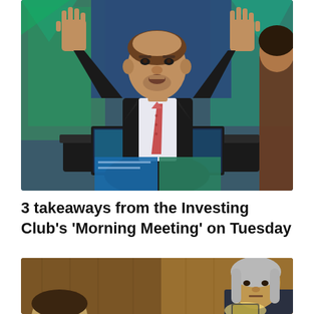[Figure (photo): A man in a dark suit with a pink/red tie, hands raised with palms open, sitting behind a desk in a TV studio with green and blue background graphics. A woman's shoulder is visible on the right side.]
3 takeaways from the Investing Club's 'Morning Meeting' on Tuesday
[Figure (photo): Two people in a warmly lit room with wood-paneled walls. On the left is a partial view of a person's head. On the right is an older man with long gray hair wearing a dark jacket, looking downward.]